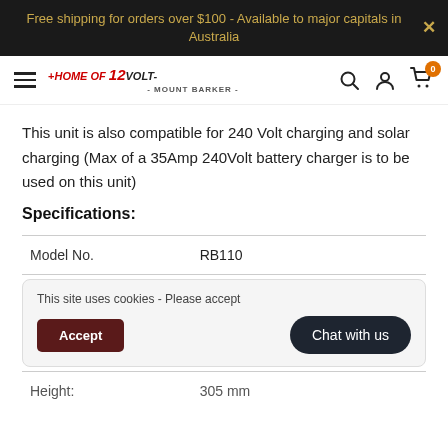Free shipping for orders over $100 - Available to major capitals in Australia
[Figure (logo): Home of 12 Volt Mount Barker logo with navigation icons (search, account, cart with 0 badge)]
This unit is also compatible for 240 Volt charging and solar charging (Max of a 35Amp 240Volt battery charger is to be used on this unit)
Specifications:
| Model No. | RB110 |
| Height: | 305 mm |
This site uses cookies - Please accept
Accept | Chat with us